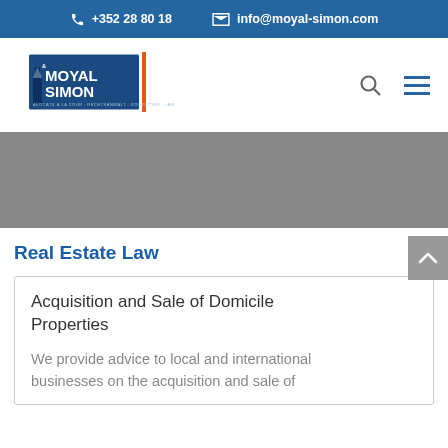+352 28 80 18   info@moyal-simon.com
[Figure (logo): Moyal & Simon law firm logo with stylized building graphic and text 'MOYAL SIMON' in blue and orange, with subtitle text]
[Figure (other): Gray hero banner image area]
Real Estate Law
Acquisition and Sale of Domicile Properties
We provide advice to local and international businesses on the acquisition and sale of